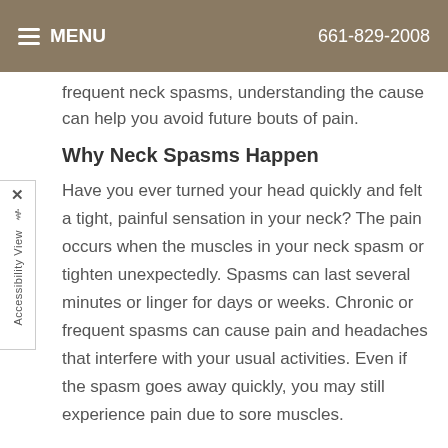MENU   661-829-2008
frequent neck spasms, understanding the cause can help you avoid future bouts of pain.
Why Neck Spasms Happen
Have you ever turned your head quickly and felt a tight, painful sensation in your neck? The pain occurs when the muscles in your neck spasm or tighten unexpectedly. Spasms can last several minutes or linger for days or weeks. Chronic or frequent spasms can cause pain and headaches that interfere with your usual activities. Even if the spasm goes away quickly, you may still experience pain due to sore muscles.
Neck pain and spasms are common problems for many of us. In fact, 20 to 70 percent of Americans